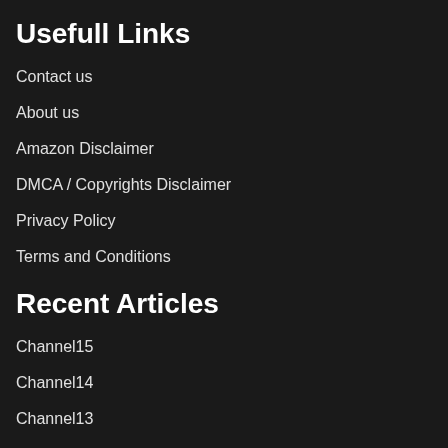Usefull Links
Contact us
About us
Amazon Disclaimer
DMCA / Copyrights Disclaimer
Privacy Policy
Terms and Conditions
Recent Articles
Channel15
Channel14
Channel13